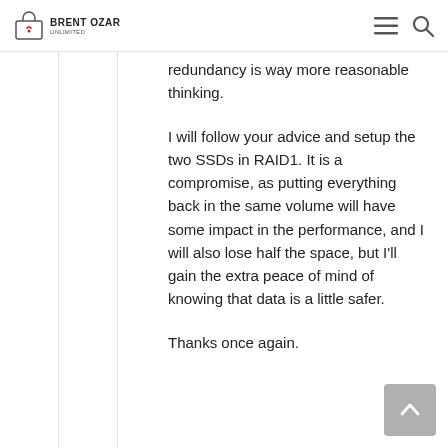BRENT OZAR Unlimited
redundancy is way more reasonable thinking.
I will follow your advice and setup the two SSDs in RAID1. It is a compromise, as putting everything back in the same volume will have some impact in the performance, and I will also lose half the space, but I’ll gain the extra peace of mind of knowing that data is a little safer.
Thanks once again.